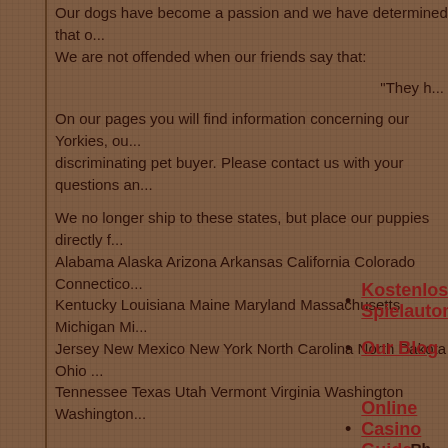Our dogs have become a passion and we have determined that our dogs are the best. We are not offended when our friends say that:
"They h..."
On our pages you will find information concerning our Yorkies, our discriminating pet buyer. Please contact us with your questions an...
We no longer ship to these states, but place our puppies directly... Alabama Alaska Arizona Arkansas California Colorado Connectico... Kentucky Louisiana Maine Maryland Massachusetts Michigan Min... Jersey New Mexico New York North Carolina North Dakota Ohio... Tennessee Texas Utah Vermont Virginia Washington Washington...
Rh...
(5...
rhonda...
Kostenlos Spielautomaten
Our Blog
Online Casino Guide
Free Slots